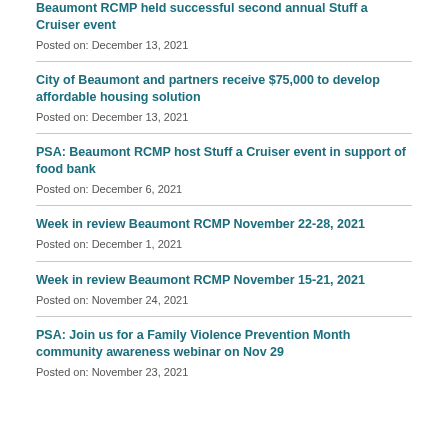Beaumont RCMP held successful second annual Stuff a Cruiser event
Posted on: December 13, 2021
City of Beaumont and partners receive $75,000 to develop affordable housing solution
Posted on: December 13, 2021
PSA: Beaumont RCMP host Stuff a Cruiser event in support of food bank
Posted on: December 6, 2021
Week in review Beaumont RCMP November 22-28, 2021
Posted on: December 1, 2021
Week in review Beaumont RCMP November 15-21, 2021
Posted on: November 24, 2021
PSA: Join us for a Family Violence Prevention Month community awareness webinar on Nov 29
Posted on: November 23, 2021